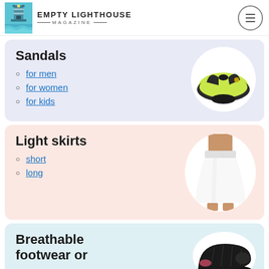EMPTY LIGHTHOUSE MAGAZINE
Sandals
for men
for women
for kids
[Figure (photo): Photo of a flip-flop sandal with green insole, in a white circle]
Light skirts
short
long
[Figure (photo): Photo of a woman wearing a white mini/short skirt, in a white oval circle]
Breathable footwear or
[Figure (photo): Photo of a black slip-on breathable shoe, in a white circle]